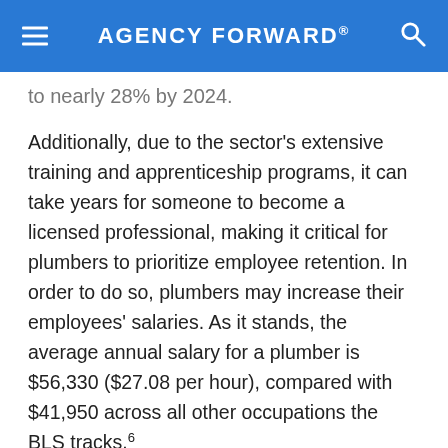AGENCY FORWARD®
to nearly 28% by 2024.
Additionally, due to the sector's extensive training and apprenticeship programs, it can take years for someone to become a licensed professional, making it critical for plumbers to prioritize employee retention. In order to do so, plumbers may increase their employees' salaries. As it stands, the average annual salary for a plumber is $56,330 ($27.08 per hour), compared with $41,950 across all other occupations the BLS tracks.6
Technology Trends